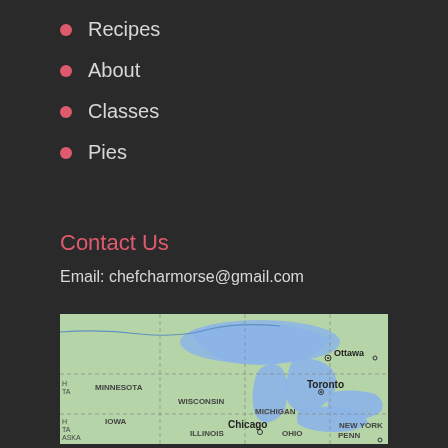Recipes
About
Classes
Pies
Contact Us
Email: chefcharmorse@gmail.com
[Figure (map): Google Maps view showing Great Lakes region including Minnesota, Wisconsin, Michigan, Iowa, Illinois, Ohio, New York, and Canadian cities Ottawa and Toronto]